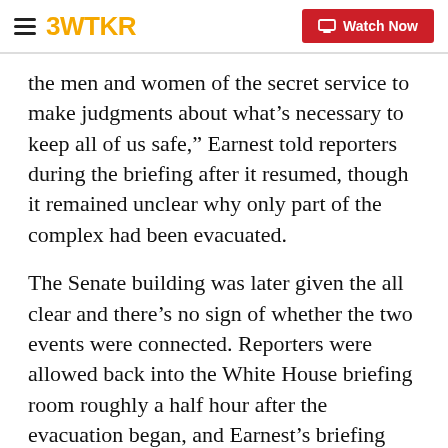3WTKR | Watch Now
the men and women of the secret service to make judgments about what’s necessary to keep all of us safe,” Earnest told reporters during the briefing after it resumed, though it remained unclear why only part of the complex had been evacuated.
The Senate building was later given the all clear and there’s no sign of whether the two events were connected. Reporters were allowed back into the White House briefing room roughly a half hour after the evacuation began, and Earnest’s briefing resumed shortly there after.
The TSA hearing was called by the Senate Homeland Security and Government Affairs Committee in